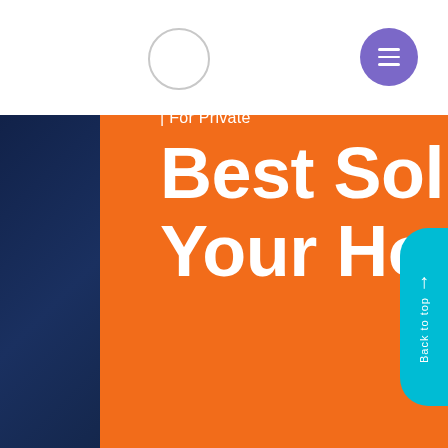[Figure (logo): Circular logo outline in header]
[Figure (other): Purple circular hamburger menu button with three white horizontal lines]
| For Private
Best Solution for Your Home
[Figure (other): Teal/cyan 'Back to top' pill button on right edge with upward arrow]